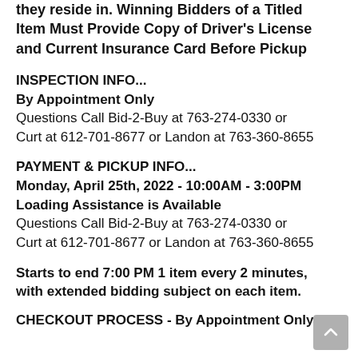they reside in. Winning Bidders of a Titled Item Must Provide Copy of Driver's License and Current Insurance Card Before Pickup
INSPECTION INFO...
By Appointment Only
Questions Call Bid-2-Buy at 763-274-0330 or Curt at 612-701-8677 or Landon at 763-360-8655
PAYMENT & PICKUP INFO...
Monday, April 25th, 2022 - 10:00AM - 3:00PM
Loading Assistance is Available
Questions Call Bid-2-Buy at 763-274-0330 or Curt at 612-701-8677 or Landon at 763-360-8655
Starts to end 7:00 PM 1 item every 2 minutes, with extended bidding subject on each item.
CHECKOUT PROCESS - By Appointment Only.